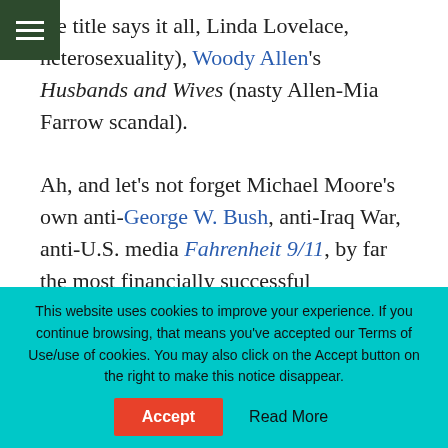the title says it all, Linda Lovelace, heterosexuality), Woody Allen's Husbands and Wives (nasty Allen-Mia Farrow scandal).

Ah, and let's not forget Michael Moore's own anti-George W. Bush, anti-Iraq War, anti-U.S. media Fahrenheit 9/11, by far the most financially successful documentary in history. So, why should Zero Dark Thirty and the torture-porn accusations lead to different results?
This website uses cookies to improve your experience. If you continue browsing, that means you've accepted our Terms of Use/use of cookies. You may also click on the Accept button on the right to make this notice disappear.